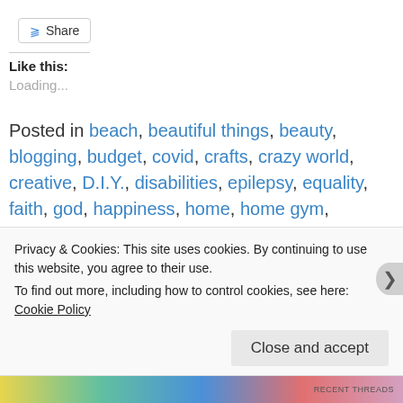[Figure (other): Share button with share icon]
Like this:
Loading...
Posted in beach, beautiful things, beauty, blogging, budget, covid, crafts, crazy world, creative, D.I.Y., disabilities, epilepsy, equality, faith, god, happiness, home, home gym, honesty, hope, invisible disabilities, jesus, life, medicine, mental illness, mexico, mindfulness, ocean, pacific ocean, pandemic, philosophy, poshmark, ptsd, remodel, remote, seizures, self love, sunsets, teachers, thankful, truth, Uncategorized, vaccine
Privacy & Cookies: This site uses cookies. By continuing to use this website, you agree to their use. To find out more, including how to control cookies, see here: Cookie Policy
Close and accept